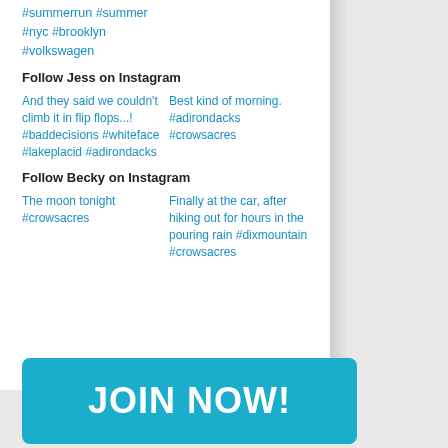#summerrun #summer #nyc #brooklyn #volkswagen
Follow Jess on Instagram
[Figure (photo): Instagram image placeholder for Jess post 1]
And they said we couldn't climb it in flip flops...! #baddecisions #whiteface #lakeplacid #adirondacks
[Figure (photo): Instagram image placeholder for Jess post 2]
Best kind of morning. #adirondacks #crowsacres
Follow Becky on Instagram
[Figure (photo): Instagram image placeholder for Becky post 1]
The moon tonight #crowsacres
[Figure (photo): Instagram image placeholder for Becky post 2]
Finally at the car, after hiking out for hours in the pouring rain #dixmountain #crowsacres
JOIN NOW!